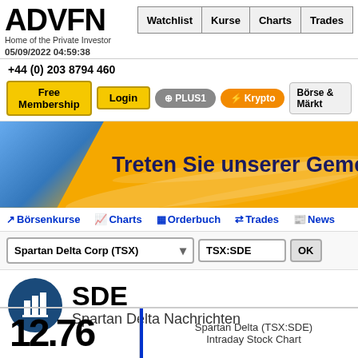[Figure (logo): ADVFN logo - Home of the Private Investor]
Watchlist | Kurse | Charts | Trades
Home of the Private Investor
05/09/2022 04:59:38
+44 (0) 203 8794 460
Free Membership | Login | PLUS1 | Krypto | Börse & Märkt
[Figure (illustration): ADVFN banner: Treten Sie unserer Gemeinschaft bei - blue and gold gradient banner]
Treten Sie unserer Gemeinschaft bei
Börsenkurse  Charts  Orderbuch  Trades  News
Spartan Delta Corp (TSX)  TSX:SDE  OK
[Figure (logo): SDE company icon - dark blue circle with building icon]
SDE
Spartan Delta Nachrichten
12.76
Spartan Delta (TSX:SDE)
Intraday Stock Chart